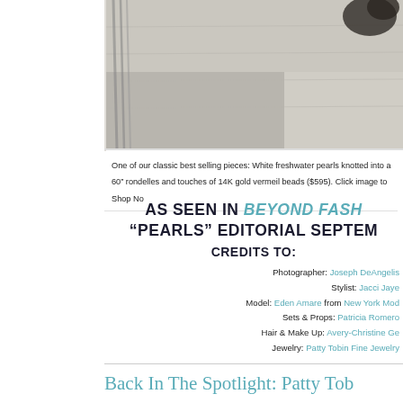[Figure (photo): Partial photo showing jewelry/pearls on a light wooden surface background]
One of our classic best selling pieces: White freshwater pearls knotted into a 60" rondelles and touches of 14K gold vermeil beads ($595). Click image to Shop No
AS SEEN IN BEYOND FASH "PEARLS" EDITORIAL SEPTEM CREDITS TO:
Photographer: Joseph DeAngelis
Stylist: Jacci Jaye
Model: Eden Amare from New York Mod
Sets & Props: Patricia Romero
Hair & Make Up: Avery-Christine G
Jewelry: Patty Tobin Fine Jewelry
Back In The Spotlight: Patty Tob